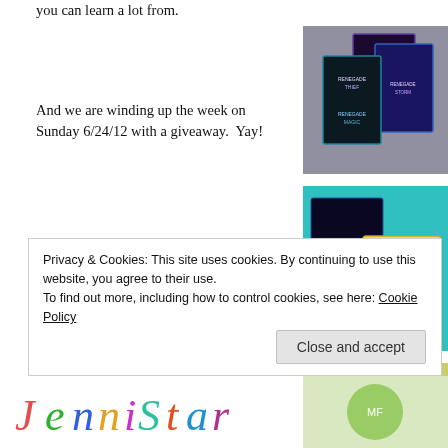you can learn a lot from.
And we are winding up the week on Sunday 6/24/12 with a giveaway.  Yay!
[Figure (photo): Three fantasy book covers fanned out — Renegade Thief, Renegade Magic, Renegade Storm — displayed on a surface]
So make sure you stop by every day, and ask questions.  I've asked them to be all-interactive-like, so I'm hoping there will be some fun discussions to read when I come back.
[Figure (photo): A dark fantasy book — Dear Fairy Daughter — on a teal background alongside a children's coloring book with markers]
Enjoy!  I hope it goes well!
[Figure (photo): Partial view of a third image — appears to show a green plant or vegetable on a wooden surface]
Privacy & Cookies: This site uses cookies. By continuing to use this website, you agree to their use.
To find out more, including how to control cookies, see here: Cookie Policy
Close and accept
[Figure (photo): Colorful decorative text in bottom strip of page]